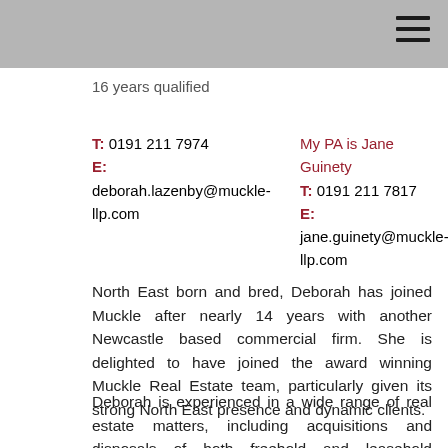16 years qualified
T: 0191 211 7974
E: deborah.lazenby@muckle-llp.com
My PA is Jane Guinety
T: 0191 211 7817
E: jane.guinety@muckle-llp.com
North East born and bred, Deborah has joined Muckle after nearly 14 years with another Newcastle based commercial firm. She is delighted to have joined the award winning Muckle Real Estate team, particularly given its strong North East presence and dynamic clients.
Deborah is experienced in a wide range of real estate matters, including acquisitions and disposals of both freehold and leasehold interests. She has acted for many clients in the charitable, retail, office and education sectors and also has significant experience in secured lending and large property portfolio management. Deborah has acted for a variety of sellers and purchasers of large ground rent